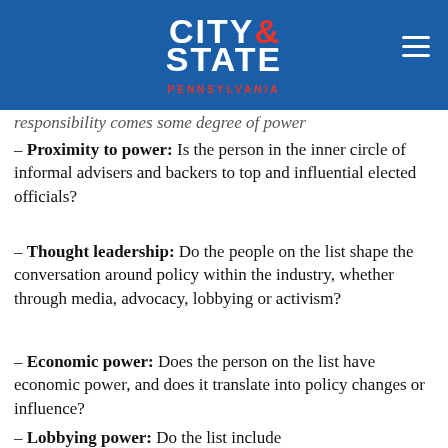City & State Pennsylvania
responsibility comes some degree of power
– Proximity to power: Is the person in the inner circle of informal advisers and backers to top and influential elected officials?
– Thought leadership: Do the people on the list shape the conversation around policy within the industry, whether through media, advocacy, lobbying or activism?
– Economic power: Does the person on the list have economic power, and does it translate into policy changes or influence?
– Lobbying power: Do the list include...